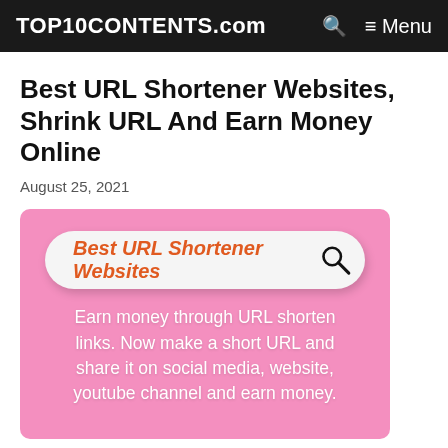TOP10CONTENTS.com  🔍  ≡ Menu
Best URL Shortener Websites, Shrink URL And Earn Money Online
August 25, 2021
[Figure (illustration): Pink background image with a search bar graphic reading 'Best URL Shortener Websites' in orange italic bold text with a magnifying glass icon, and white body text below: 'Earn money through URL shorten links. Now make a short URL and share it on social media, website, youtube channel and earn money.']